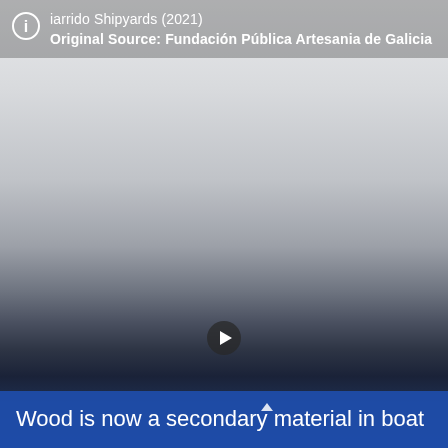[Figure (photo): A photograph of a shipyard or boat-building scene, showing a large vessel or boat hull. The image transitions from light grey-white tones at the top to deep dark blue tones at the bottom, suggesting an overcast sky fading into dark water or shadow.]
iarrido Shipyards (2021)
Original Source: Fundación Pública Artesania de Galicia
Wood is now a secondary material in boat